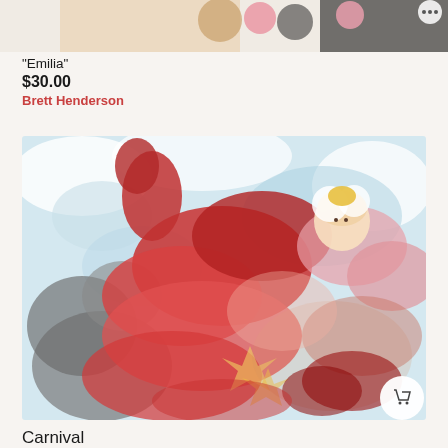[Figure (photo): Top portion of an artwork or product listing image, cropped at top of page]
"Emilia"
$30.00
Brett Henderson
[Figure (illustration): A colorful painting titled Carnival featuring figures in red flowing garments with pink and blue background, expressive brushwork with watercolor-like style]
Carnival